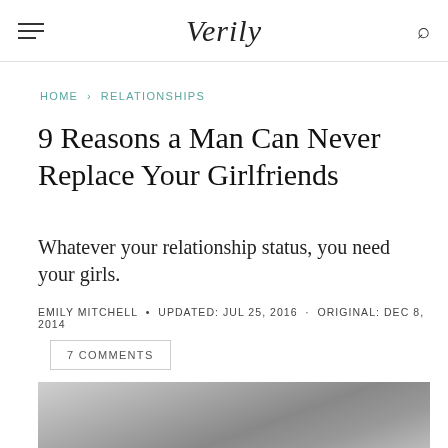Verily
HOME › RELATIONSHIPS
9 Reasons a Man Can Never Replace Your Girlfriends
Whatever your relationship status, you need your girls.
EMILY MITCHELL • UPDATED: JUL 25, 2016 · ORIGINAL: DEC 8, 2014
7 COMMENTS
[Figure (photo): Black and white photo of people (women), partially visible at bottom of page]